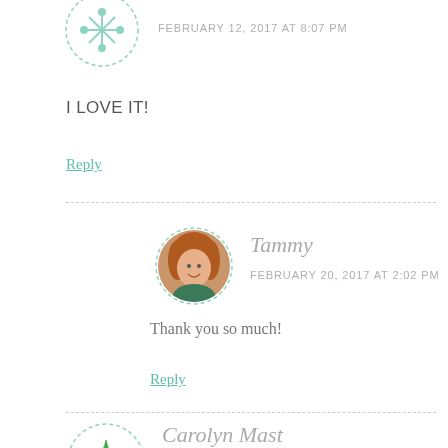[Figure (illustration): Circular dashed-border avatar with green snowflake/leaf decorative icon, partially cropped at top]
FEBRUARY 12, 2017 AT 8:07 PM
I LOVE IT!
Reply
[Figure (photo): Circular dashed-border avatar with photo of a woman with curly red hair, smiling]
Tammy
FEBRUARY 20, 2017 AT 2:02 PM
Thank you so much!
Reply
[Figure (illustration): Circular dashed-border avatar with green star/snowflake decorative icon, partially cropped at bottom]
Carolyn Mast
FEBRUARY 12, 2017 AT 8:55 PM